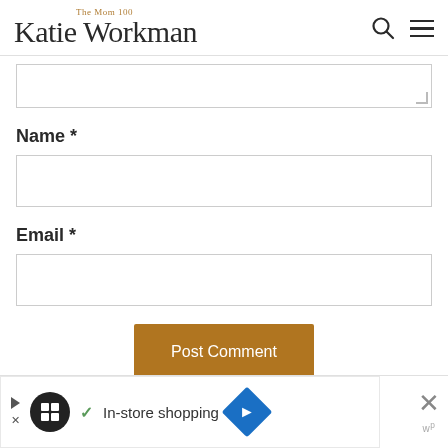The Mom 100 — Katie Workman
Name *
Email *
Post Comment
[Figure (screenshot): Advertisement banner: In-store shopping ad with circular logo, checkmark, text, and blue diamond navigation icon]